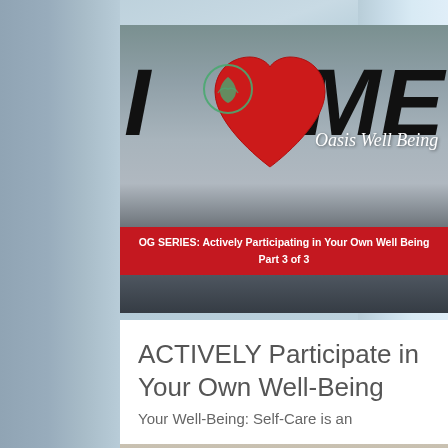[Figure (photo): Blog header image showing 'I [heart] ME' text with Oasis Well Being logo overlay, red banner with blog series title 'BLOG SERIES: Actively Participating in Your Own Well Being Part 3 of 3', set against an ocean/water background]
ACTIVELY Participate in Your Own Well-Being (Part 3 of 3)
Your Well-Being: Self-Care is an
[Figure (photo): Bottom strip photo showing glasses on a surface, partially visible]